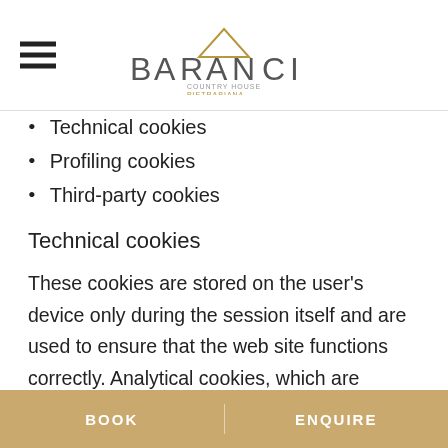BARANCI
Technical cookies
Profiling cookies
Third-party cookies
Technical cookies
These cookies are stored on the user's device only during the session itself and are used to ensure that the web site functions correctly. Analytical cookies, which are utilized for processing statistical access data, are classified as technical cookies. These collect general information without any identification
BOOK   ENQUIRE